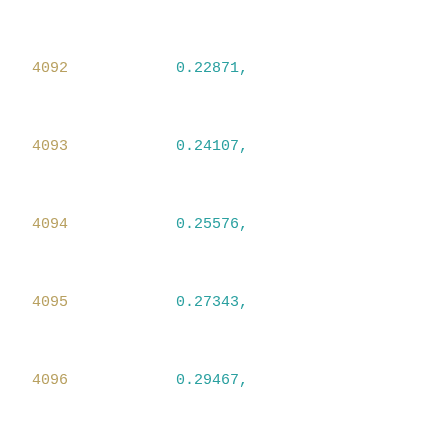4092   0.22871,
4093   0.24107,
4094   0.25576,
4095   0.27343,
4096   0.29467,
4097   0.32022,
4098   0.35073,
4099   0.38703,
4100   0.43103,
4101   0.48349,
4102   0.54657,
4103   0.62214,
4104   0.714,
4105   0.82215,
4106   0.95375,
4107   1.10922,
4108   1.29862
4109   ],
4110   [
4111   0.16853,
4112   0.20133,